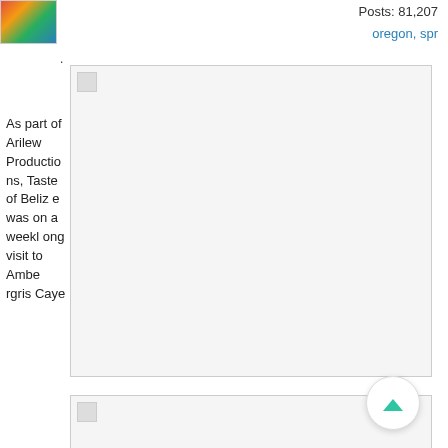[Figure (photo): User avatar photo showing colorful image]
Posts: 81,207
oregon, spr
[Figure (photo): Broken/loading image placeholder box 1]
As part of Arilew Productions, Taste of Belize was on a weeklong visit to Ambergris Caye
[Figure (photo): Broken/loading image placeholder box 2]